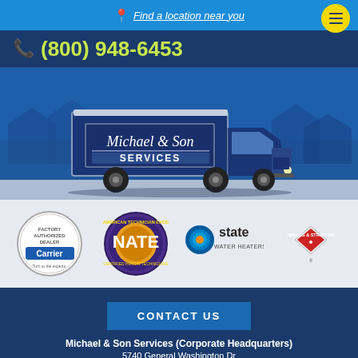Find a location near you
(800) 948-6453
[Figure (photo): Michael & Son Services delivery truck with company logo on a residential street background]
[Figure (logo): Four partner/certification logos: Carrier Factory Authorized Dealer, NATE, State Water Heaters, Briggs & Stratton]
CONTACT US
Michael & Son Services (Corporate Headquarters)
5740 General Washington Dr